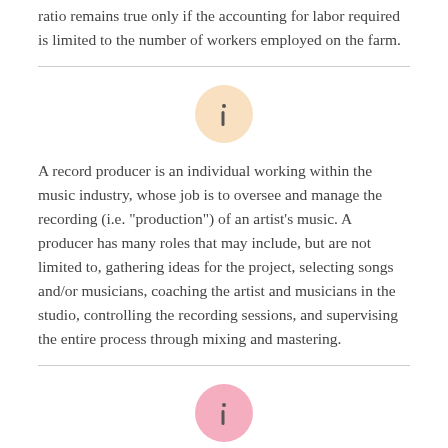ratio remains true only if the accounting for labor required is limited to the number of workers employed on the farm.
[Figure (illustration): An information icon — letter 'i' inside a peach/cream colored circle]
A record producer is an individual working within the music industry, whose job is to oversee and manage the recording (i.e. "production") of an artist's music. A producer has many roles that may include, but are not limited to, gathering ideas for the project, selecting songs and/or musicians, coaching the artist and musicians in the studio, controlling the recording sessions, and supervising the entire process through mixing and mastering.
[Figure (illustration): An information icon — letter 'i' inside a pink colored circle]
A contract is an agreement entered into voluntarily by two parties or more with the intention of creating a legal